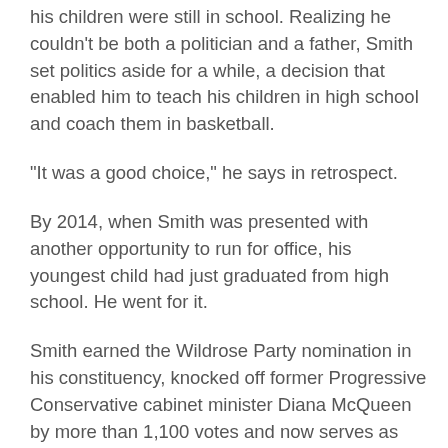his children were still in school. Realizing he couldn't be both a politician and a father, Smith set politics aside for a while, a decision that enabled him to teach his children in high school and coach them in basketball.
“It was a good choice,” he says in retrospect.
By 2014, when Smith was presented with another opportunity to run for office, his youngest child had just graduated from high school. He went for it.
Smith earned the Wildrose Party nomination in his constituency, knocked off former Progressive Conservative cabinet minister Diana McQueen by more than 1,100 votes and now serves as shadow minister of education for the